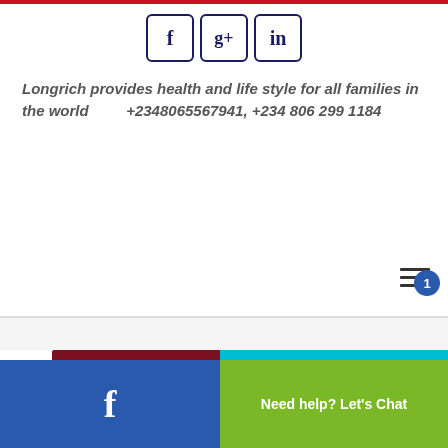[Figure (logo): Red top bar]
[Figure (logo): Social media icons: Facebook (f), Google+ (g+), LinkedIn (in) — dark navy bordered rounded square buttons]
Longrich provides health and life style for all families in the world          +2348065567941, +234 806 299 1184
[Figure (illustration): Hamburger menu icon (three horizontal lines)]
[Figure (photo): Banner image: dark red background with cursive 'Celebrating' text, a numeral/question mark, a person's face partially visible, and a PR Professionals circular logo on the right]
[Figure (screenshot): Bottom bar: left side blue with Facebook icon, right side green with 'Need help? Let's Chat' text, cyan strip, and notification badge showing '1']